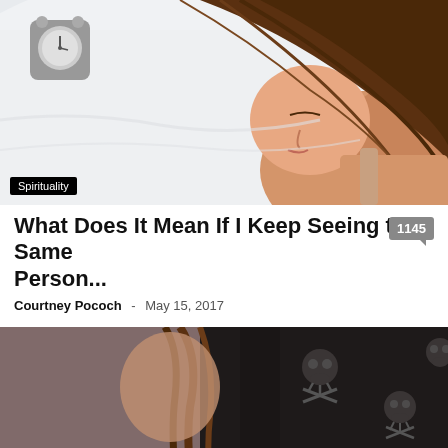[Figure (photo): Woman sleeping on white pillow/bed, long brown hair, side profile view. An alarm clock is visible in the top-left corner. Category badge 'Spirituality' overlaid at bottom-left.]
What Does It Mean If I Keep Seeing the Same Person...
Courtney Pococh  -  May 15, 2017  1145
[Figure (photo): Person wearing dark hoodie/jacket with skull and crossbones pattern. Brown hair visible. Moody dark background.]